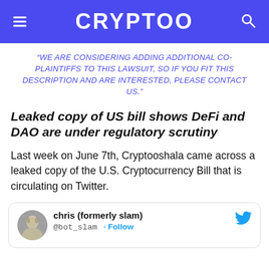CRYPTOO
“WE ARE CONSIDERING ADDING ADDITIONAL CO-PLAINTIFFS TO THIS LAWSUIT, SO IF YOU FIT THIS DESCRIPTION AND ARE INTERESTED, PLEASE CONTACT US.”
Leaked copy of US bill shows DeFi and DAO are under regulatory scrutiny
Last week on June 7th, Cryptooshala came across a leaked copy of the U.S. Cryptocurrency Bill that is circulating on Twitter.
[Figure (screenshot): Embedded tweet from chris (formerly slam) @bot_slam with a Follow button and Twitter bird icon]